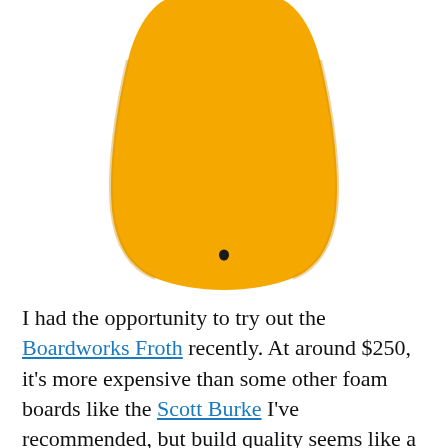[Figure (photo): Bottom tail end of an orange foam surfboard (Boardworks Froth) viewed from below, showing a small fin plug/vent hole near the center, against a white background.]
I had the opportunity to try out the Boardworks Froth recently. At around $250, it's more expensive than some other foam boards like the Scott Burke I've recommended, but build quality seems like a significant step up. It's also setup